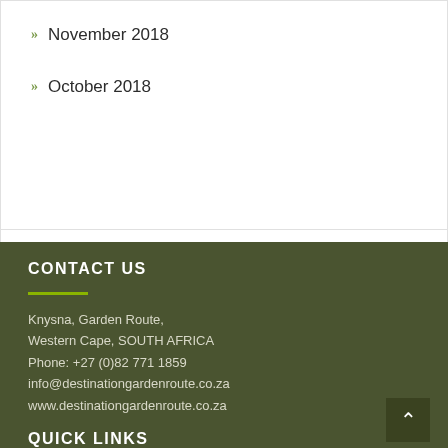November 2018
October 2018
CONTACT US
Knysna, Garden Route,
Western Cape, SOUTH AFRICA
Phone: +27 (0)82 771 1859
info@destinationgardenroute.co.za
www.destinationgardenroute.co.za
QUICK LINKS
Home